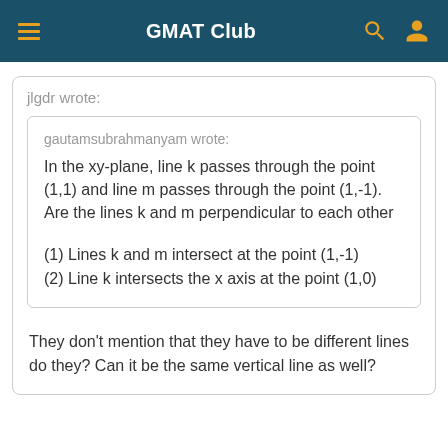GMAT Club
jlgdr wrote:
gautamsubrahmanyam wrote:
In the xy-plane, line k passes through the point (1,1) and line m passes through the point (1,-1). Are the lines k and m perpendicular to each other
(1) Lines k and m intersect at the point (1,-1)
(2) Line k intersects the x axis at the point (1,0)
They don't mention that they have to be different lines do they? Can it be the same vertical line as well?